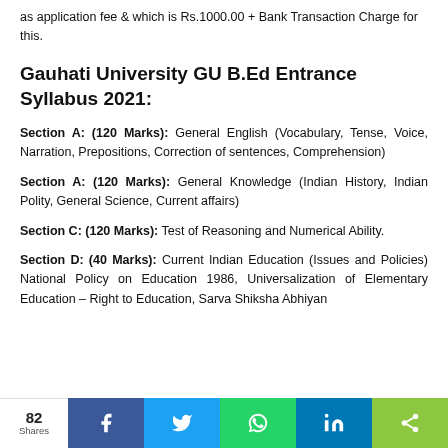as application fee & which is Rs.1000.00 + Bank Transaction Charge for this.
Gauhati University GU B.Ed Entrance Syllabus 2021:
Section A: (120 Marks): General English (Vocabulary, Tense, Voice, Narration, Prepositions, Correction of sentences, Comprehension)
Section A: (120 Marks): General Knowledge (Indian History, Indian Polity, General Science, Current affairs)
Section C: (120 Marks): Test of Reasoning and Numerical Ability.
Section D: (40 Marks): Current Indian Education (Issues and Policies) National Policy on Education 1986, Universalization of Elementary Education – Right to Education, Sarva Shiksha Abhiyan